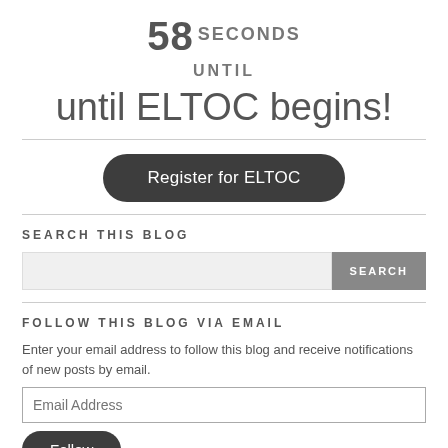58 SECONDS UNTIL
until ELTOC begins!
Register for ELTOC
SEARCH THIS BLOG
FOLLOW THIS BLOG VIA EMAIL
Enter your email address to follow this blog and receive notifications of new posts by email.
Follow